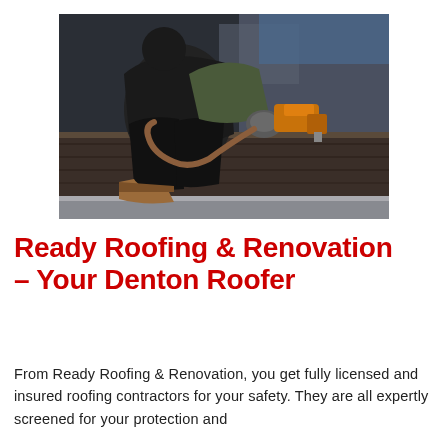[Figure (photo): A roofer worker crouching on a rooftop, wearing dark work clothes, green gloves, and brown boots, using a nail gun on roofing material. A coiled hose is visible. Dark and industrial background.]
Ready Roofing & Renovation – Your Denton Roofer
From Ready Roofing & Renovation, you get fully licensed and insured roofing contractors for your safety. They are all expertly screened for your protection and